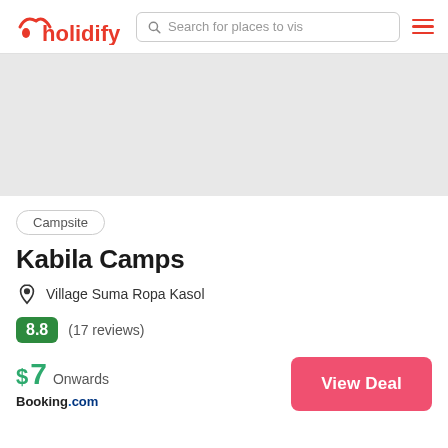[Figure (logo): Holidify logo with red text and icon]
Search for places to vis
[Figure (screenshot): Gray placeholder image area for campsite photo]
Campsite
Kabila Camps
Village Suma Ropa Kasol
8.8 (17 reviews)
$ 7 Onwards
Booking.com
View Deal